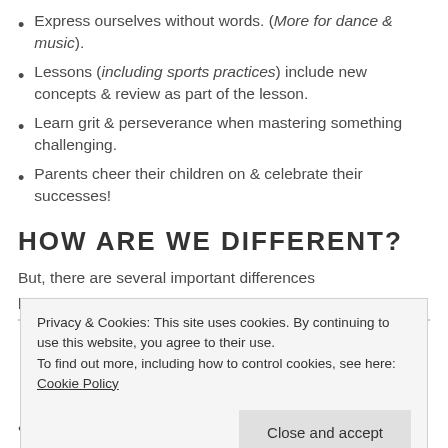Express ourselves without words. (More for dance & music).
Lessons (including sports practices) include new concepts & review as part of the lesson.
Learn grit & perseverance when mastering something challenging.
Parents cheer their children on & celebrate their successes!
HOW ARE WE DIFFERENT?
But, there are several important differences
Privacy & Cookies: This site uses cookies. By continuing to use this website, you agree to their use. To find out more, including how to control cookies, see here: Cookie Policy
Some studios, like ours, include group lessons